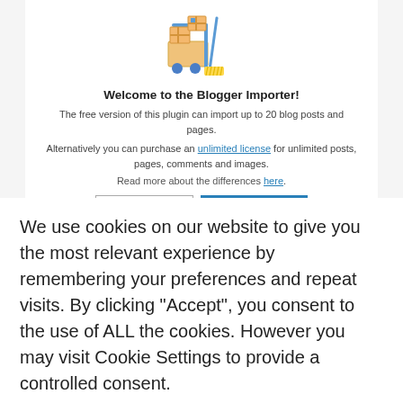[Figure (illustration): Illustration of boxes on a cart with a broom/mop, representing the Blogger Importer plugin]
Welcome to the Blogger Importer!
The free version of this plugin can import up to 20 blog posts and pages.
Alternatively you can purchase an unlimited license for unlimited posts, pages, comments and images.
Read more about the differences here.
20 posts for free    Unlimited license
We use cookies on our website to give you the most relevant experience by remembering your preferences and repeat visits. By clicking “Accept”, you consent to the use of ALL the cookies. However you may visit Cookie Settings to provide a controlled consent.
Cookie settings    Privacy Policy
ACCEPT    x